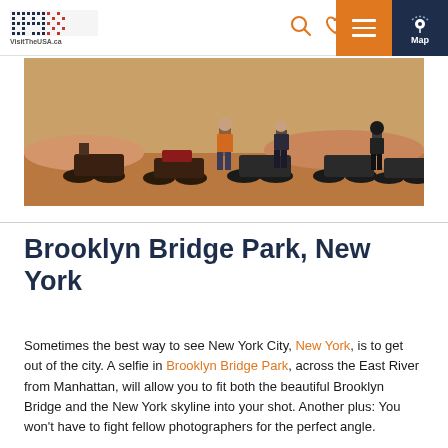VisitTheUSA.ca — navigation header with logo, search, heart, menu and Map icons
[Figure (photo): A group of motorcycles and riders lined up on a dusty red earth landscape, with riders standing beside their bikes.]
Brooklyn Bridge Park, New York
Sometimes the best way to see New York City, New York, is to get out of the city. A selfie in Brooklyn Bridge Park, across the East River from Manhattan, will allow you to fit both the beautiful Brooklyn Bridge and the New York skyline into your shot. Another plus: You won't have to fight fellow photographers for the perfect angle.